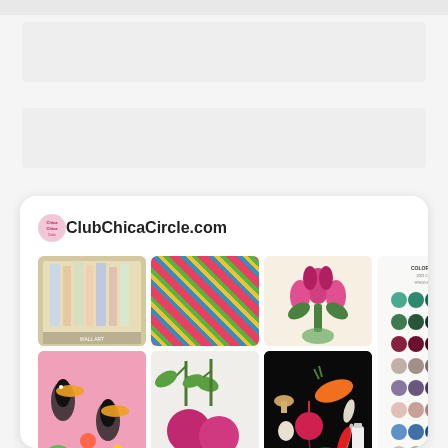[Figure (screenshot): Screenshot of ClubChicaCircle.com Pinterest-style page showing a grid of craft/art pins including colorful fabrics, flowers, vegetables, color swatches, and patterns]
ClubChicaCircle.com